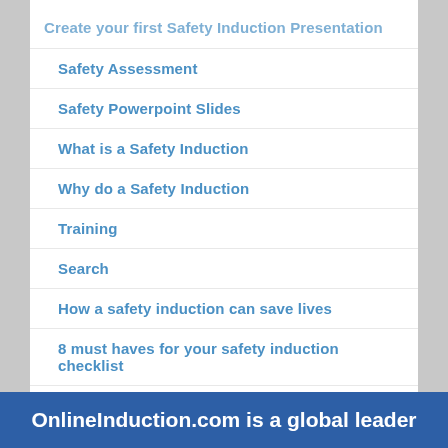Create your first Safety Induction Presentation
Safety Assessment
Safety Powerpoint Slides
What is a Safety Induction
Why do a Safety Induction
Training
Search
How a safety induction can save lives
8 must haves for your safety induction checklist
Health and Safety Training Examples
OnlineInduction.com is a global leader